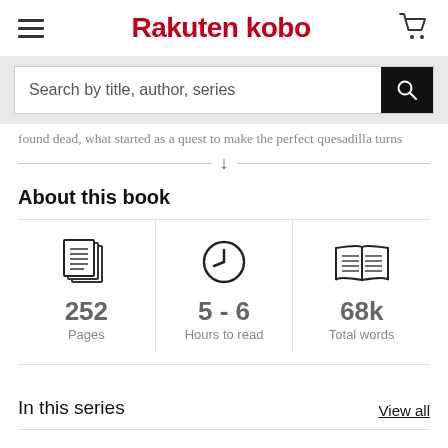Rakuten kobo
Search by title, author, series
found dead, what started as a quest to make the perfect quesadilla turns
About this book
252
Pages
5 - 6
Hours to read
68k
Total words
In this series
View all